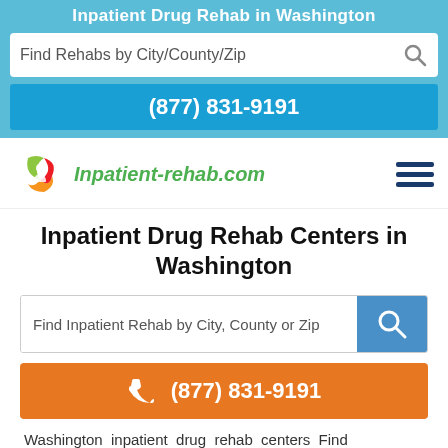Inpatient Drug Rehab in Washington
Find Rehabs by City/County/Zip
(877) 831-9191
[Figure (logo): Inpatient-rehab.com logo with green/red/yellow swirl icon and italic green text]
Inpatient Drug Rehab Centers in Washington
Find Inpatient Rehab by City, County or Zip
(877) 831-9191
Washington inpatient drug rehab centers Find